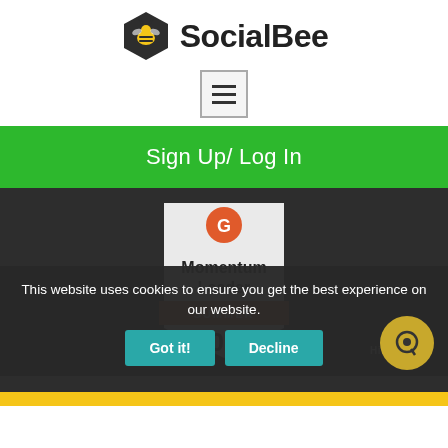[Figure (logo): SocialBee logo with hexagon bee icon and 'SocialBee' text in bold dark font]
[Figure (other): Hamburger menu button with three horizontal lines inside a bordered square]
Sign Up/ Log In
[Figure (other): G2 Momentum Leader Summer 2022 badge/shield on dark background]
This website uses cookies to ensure you get the best experience on our website.
Got it!
Decline